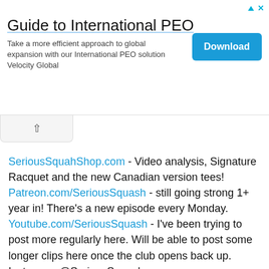[Figure (other): Advertisement banner for 'Guide to International PEO' with a Download button]
SeriousSquahShop.com - Video analysis, Signature Racquet and the new Canadian version tees!
Patreon.com/SeriousSquash - still going strong 1+ year in! There's a new episode every Monday.
Youtube.com/SeriousSquash - I've been trying to post more regularly here. Will be able to post some longer clips here once the club opens back up.
Instagram @SeriousSquash
My interview on the 'In Squash Podcast': https://soundcloud.com/gerry-gibson-485133288/episode-142-chris-hanebury